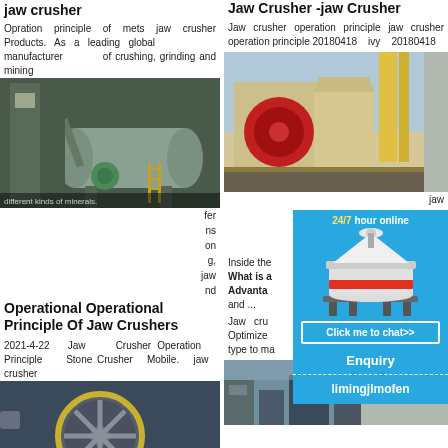jaw crusher
Opration principle of mets jaw crusher Products. As a leading global manufacturer of crushing, grinding and mining equipment, we offer advanced, reasonable solutions for any size-reduction requirements including, jaw crusher and different kinds of minerals.
[Figure (photo): Industrial ball mill / grinding equipment in a factory]
Operational Operational Principle Of Jaw Crushers
2021-4-22  Jaw Crusher Operation Principle Stone Crusher Mobile. jaw crusher ne ith he be he are
[Figure (photo): Large industrial ball mill machinery]
Jaw Crusher -jaw Crusher
Jaw crusher operation principle jaw crusher operation principle 20180418  ivy  20180418
[Figure (photo): Jaw crusher equipment on a truck/trailer]
Inside the jaw crusher. What is a Advantages and ...
Jaw cru Optimize type to ma
[Figure (photo): Industrial mining/crushing facility]
[Figure (infographic): 24/7 hour online chat widget with cone crusher image, Click me to chat>>, Enquiry, limingjlmofen]